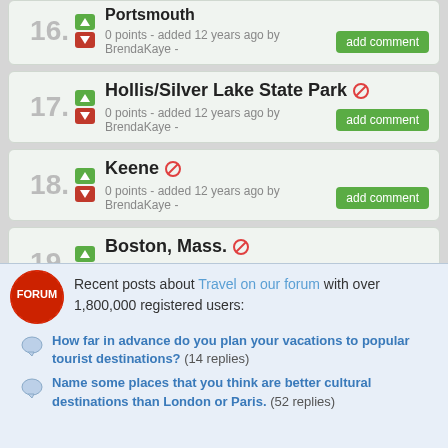16. Portsmouth - 0 points - added 12 years ago by BrendaKaye
17. Hollis/Silver Lake State Park - 0 points - added 12 years ago by BrendaKaye
18. Keene - 0 points - added 12 years ago by BrendaKaye
19. Boston, Mass. - 0 points - added 12 years ago by BrendaKaye
20. York Beach - 0 points - added 12 years ago by BrendaKaye
Add item
Recent posts about Travel on our forum with over 1,800,000 registered users:
How far in advance do you plan your vacations to popular tourist destinations? (14 replies)
Name some places that you think are better cultural destinations than London or Paris. (52 replies)